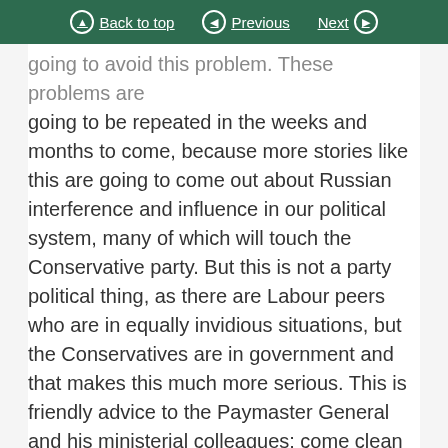Back to top | Previous | Next
going to avoid this problem. These problems are going to be repeated in the weeks and months to come, because more stories like this are going to come out about Russian interference and influence in our political system, many of which will touch the Conservative party. But this is not a party political thing, as there are Labour peers who are in equally invidious situations, but the Conservatives are in government and that makes this much more serious. This is friendly advice to the Paymaster General and his ministerial colleagues: come clean and put it all out in the open; implement the recommendations of the Russia report—stop running away from them and hiding from them; and have that inquiry into Russian interference and then everything can be out in the open and transparent.